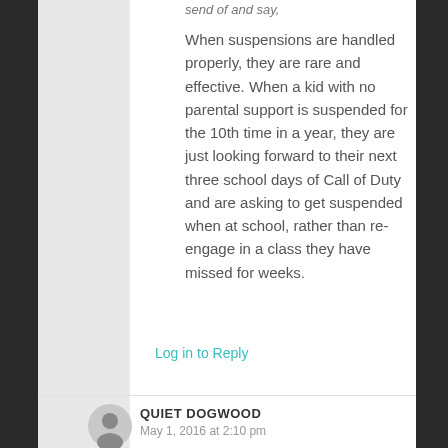When suspensions are handled properly, they are rare and effective. When a kid with no parental support is suspended for the 10th time in a year, they are just looking forward to their next three school days of Call of Duty and are asking to get suspended when at school, rather than re-engage in a class they have missed for weeks.
Log in to Reply
QUIET DOGWOOD
May 1, 2016 at 2:10 pm